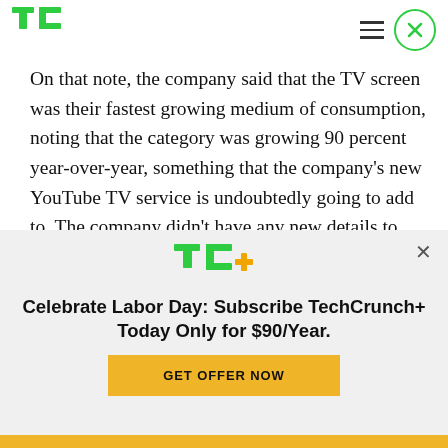TechCrunch header with logo, hamburger menu, and close button
On that note, the company said that the TV screen was their fastest growing medium of consumption, noting that the category was growing 90 percent year-over-year, something that the company’s new YouTube TV service is undoubtedly going to add to. The company didn’t have any new details to share on desktop video viewing habits.
[Figure (logo): TechCrunch+ logo (TC+ in green and orange)]
Celebrate Labor Day: Subscribe TechCrunch+ Today Only for $90/Year.
GET OFFER NOW